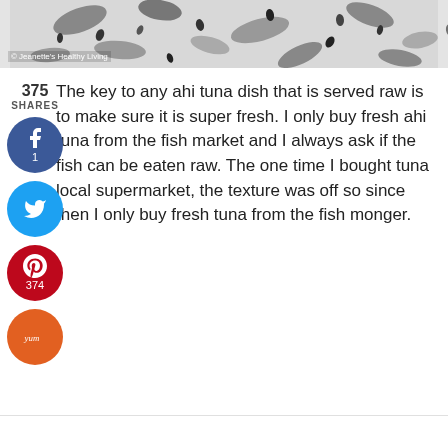[Figure (photo): Close-up food photo (ahi tuna dish) with watermark '© Jeanette's Healthy Living']
The key to any ahi tuna dish that is served raw is to make sure it is super fresh. I only buy fresh ahi tuna from the fish market and I always ask if the fish can be eaten raw. The one time I bought tuna local supermarket, the texture was off so since then I only buy fresh tuna from the fish monger.